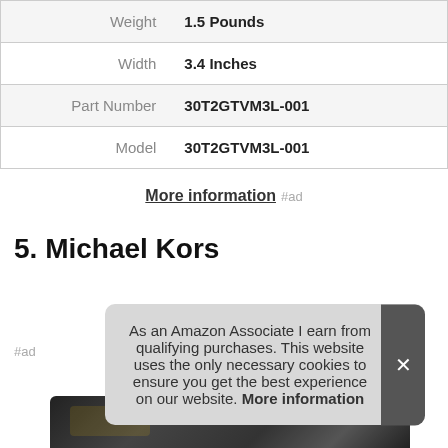| Attribute | Value |
| --- | --- |
| Weight | 1.5 Pounds |
| Width | 3.4 Inches |
| Part Number | 30T2GTVM3L-001 |
| Model | 30T2GTVM3L-001 |
More information #ad
5. Michael Kors
As an Amazon Associate I earn from qualifying purchases. This website uses the only necessary cookies to ensure you get the best experience on our website. More information
[Figure (photo): Partial product image strip at bottom of page showing a dark patterned bag/accessory]